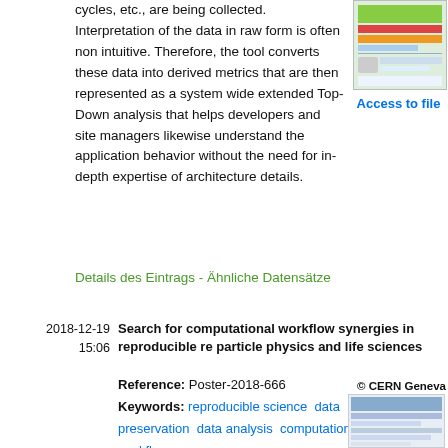cycles, etc., are being collected. Interpretation of the data in raw form is often non intuitive. Therefore, the tool converts these data into derived metrics that are then represented as a system wide extended Top-Down analysis that helps developers and site managers likewise understand the application behavior without the need for in-depth expertise of architecture details.
[Figure (screenshot): Thumbnail image of a document or report page preview]
Access to file
Details des Eintrags - Ähnliche Datensätze
2018-12-19  15:06  Search for computational workflow synergies in reproducible re particle physics and life sciences
Reference: Poster-2018-666
Keywords: reproducible science  data preservation  data analysis  computational workflows
Created: 2018.-1 p
[Figure (screenshot): Small thumbnail of the Search for computational workflow synergies in reproducible research document]
© CERN Geneva
Search for computational workflow synergies in reproducible research data particle physics and